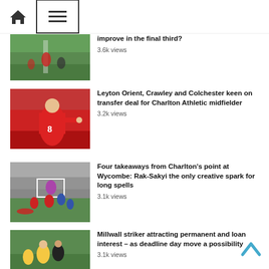[Figure (screenshot): Navigation bar with home icon and hamburger menu icon]
[Figure (photo): Soccer players on a field]
improve in the final third?
3.6k views
[Figure (photo): Charlton Athletic midfielder in red kit pointing]
Leyton Orient, Crawley and Colchester keen on transfer deal for Charlton Athletic midfielder
3.2k views
[Figure (photo): Football match action at Wycombe]
Four takeaways from Charlton's point at Wycombe: Rak-Sakyi the only creative spark for long spells
3.1k views
[Figure (photo): Millwall striker in action]
Millwall striker attracting permanent and loan interest – as deadline day move a possibility
3.1k views